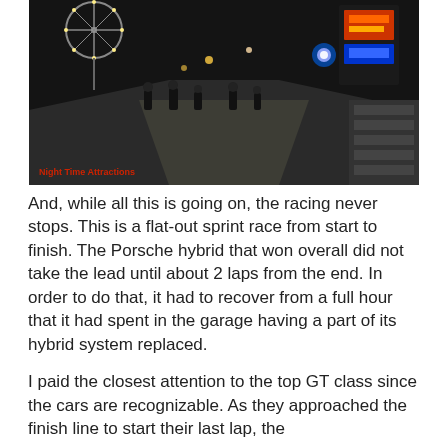[Figure (photo): Nighttime photo of a racetrack area with crowds of people walking along a path, Ferris wheel visible in background left, bright neon lights and structures visible. Red text overlay reads 'Night Time Attractions'.]
And, while all this is going on, the racing never stops. This is a flat-out sprint race from start to finish. The Porsche hybrid that won overall did not take the lead until about 2 laps from the end. In order to do that, it had to recover from a full hour that it had spent in the garage having a part of its hybrid system replaced.
I paid the closest attention to the top GT class since the cars are recognizable. As they approached the finish line to start their last lap, the